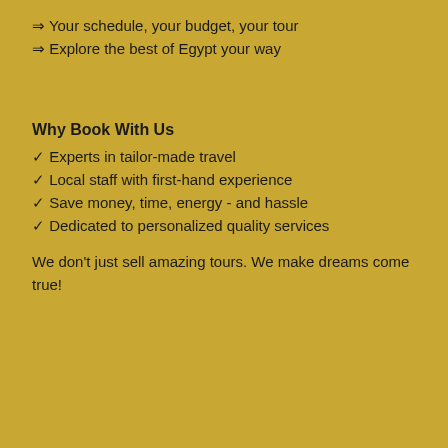⇒ Your schedule, your budget, your tour
⇒ Explore the best of Egypt your way
Why Book With Us
✓ Experts in tailor-made travel
✓ Local staff with first-hand experience
✓ Save money, time, energy - and hassle
✓ Dedicated to personalized quality services
We don't just sell amazing tours. We make dreams come true!